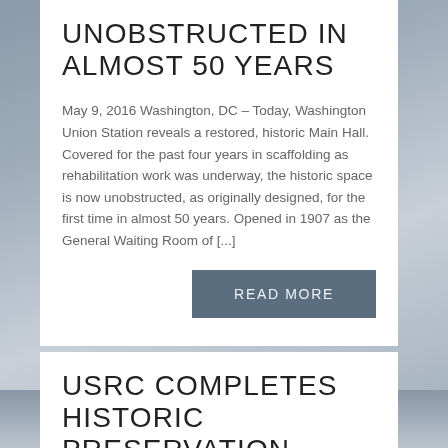UNOBSTRUCTED IN ALMOST 50 YEARS
May 9, 2016 Washington, DC – Today, Washington Union Station reveals a restored, historic Main Hall. Covered for the past four years in scaffolding as rehabilitation work was underway, the historic space is now unobstructed, as originally designed, for the first time in almost 50 years. Opened in 1907 as the General Waiting Room of [...]
READ MORE
[Figure (photo): Background photo of Washington Union Station architecture, showing ornate columns and lanterns]
USRC COMPLETES HISTORIC PRESERVATION